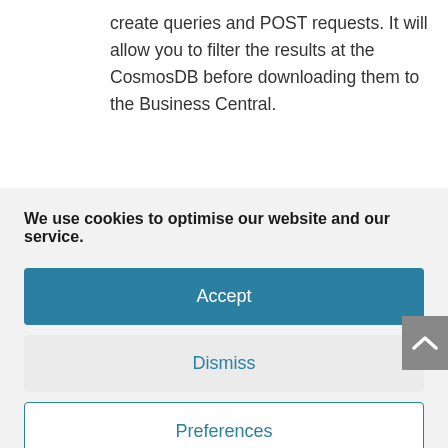create queries and POST requests. It will allow you to filter the results at the CosmosDB before downloading them to the Business Central.
We use cookies to optimise our website and our service.
Accept
Dismiss
Preferences
Cookie Policy